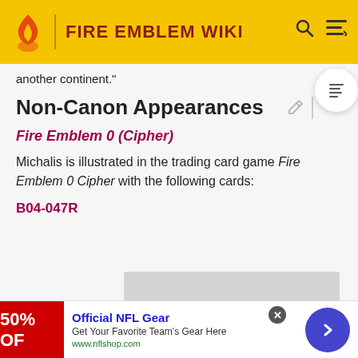FIRE EMBLEM WIKI
another continent."
Non-Canon Appearances
Fire Emblem 0 (Cipher)
Michalis is illustrated in the trading card game Fire Emblem 0 Cipher with the following cards:
B04-047R
[Figure (other): Gray placeholder image for card illustration]
Official NFL Gear
Get Your Favorite Team's Gear Here
www.nflshop.com